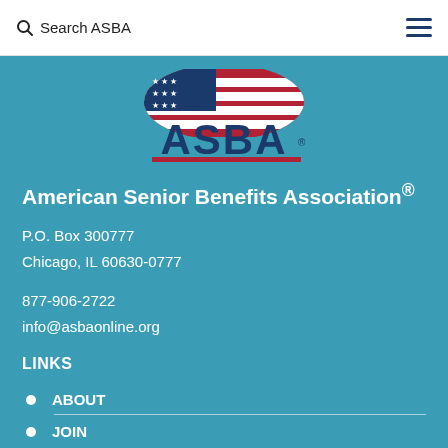Search ASBA
[Figure (logo): ASBA logo with American flag graphic above the letters ASBA in bold blue with red underline stripe]
American Senior Benefits Association®
P.O. Box 300777
Chicago, IL 60630-0777
877-906-2722
info@asbaonline.org
LINKS
ABOUT
JOIN